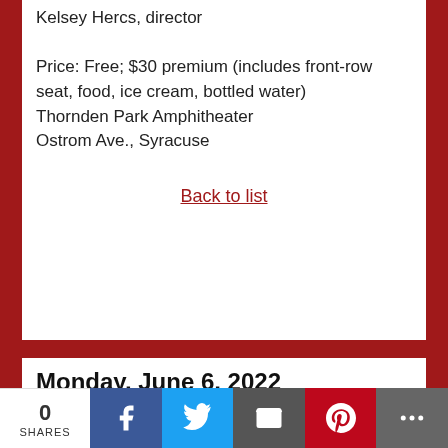Kelsey Hercs, director

Price: Free; $30 premium (includes front-row seat, food, ice cream, bottled water)
Thornden Park Amphitheater
Ostrom Ave., Syracuse
Back to list
Monday, June 6, 2022
Art
9:00 AM - 5:00 PM, June 6
2022 Newhouse Photography Annual
0 SHARES  [Facebook] [Twitter] [Email] [Pinterest] [More]